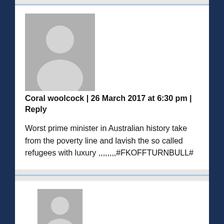[Figure (illustration): Grey placeholder avatar icon showing a silhouette of a person (head and shoulders) on a grey background]
Coral woolcock | 26 March 2017 at 6:30 pm | Reply
Worst prime minister in Australian history take from the poverty line and lavish the so called refugees with luxury ,,,,,,,,#FKOFFTURNBULL#
[Figure (illustration): Grey placeholder avatar icon showing a silhouette of a person (head and shoulders) on a grey background, partially visible at the bottom of the page]